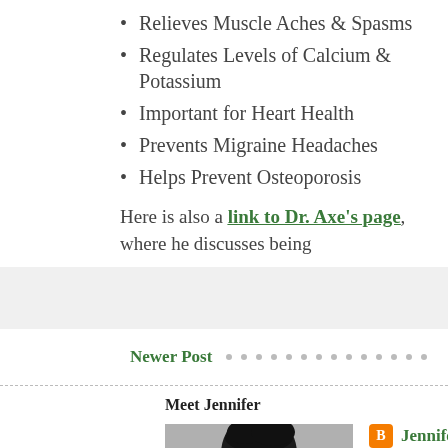Relieves Muscle Aches & Spasms
Regulates Levels of Calcium & Potassium
Important for Heart Health
Prevents Migraine Headaches
Helps Prevent Osteoporosis
Here is also a link to Dr. Axe's page, where he discusses being
Newer Post
Meet Jennifer
Jennifer
Master's Level Clinical Mental Health Counselo
View my complete profile